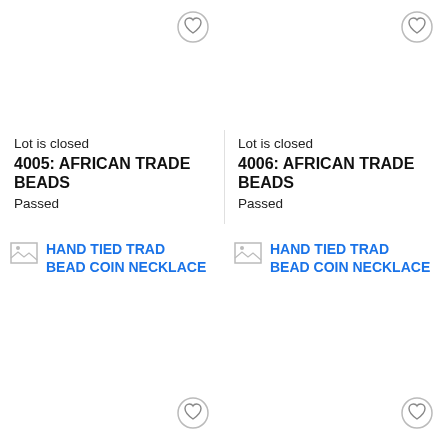[Figure (other): Auction lot card top-left: blank image area with heart/favorite button circle icon. Lot is closed. 4005: AFRICAN TRADE BEADS. Passed.]
Lot is closed
4005: AFRICAN TRADE BEADS
Passed
[Figure (other): Auction lot card top-right: blank image area with heart/favorite button circle icon. Lot is closed. 4006: AFRICAN TRADE BEADS. Passed.]
Lot is closed
4006: AFRICAN TRADE BEADS
Passed
[Figure (other): Auction lot card bottom-left: image placeholder with HAND TIED TRADE BEAD COIN NECKLACE label in blue, with heart/favorite button.]
[Figure (other): Auction lot card bottom-right: image placeholder with HAND TIED TRADE BEAD COIN NECKLACE label in blue, with heart/favorite button.]